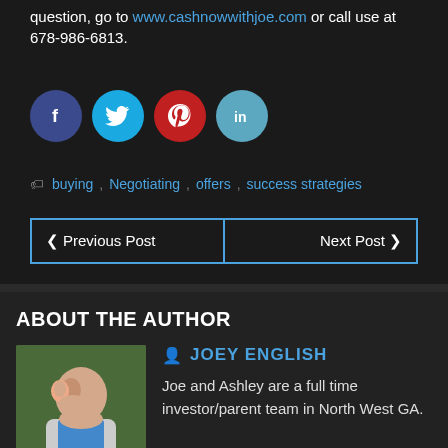question, go to www.cashnowwithjoe.com or call use at 678-986-6813.
[Figure (infographic): Social media share buttons: Facebook (dark blue circle), Twitter (light blue circle), Pinterest (red circle), LinkedIn (teal circle)]
buying, Negotiating, offers, success strategies
Previous Post | Next Post
ABOUT THE AUTHOR
[Figure (photo): Photo of Joey English - a couple, man carrying woman on his back outdoors]
JOEY ENGLISH
Joe and Ashley are a full time investor/parent team in North West GA.